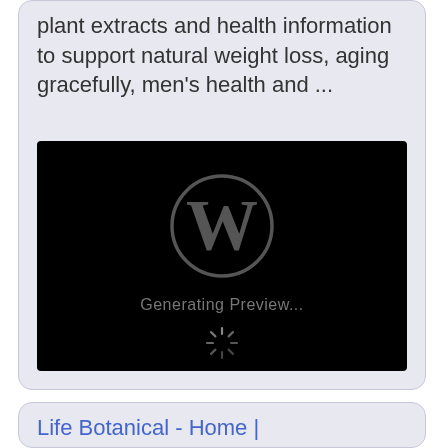plant extracts and health information to support natural weight loss, aging gracefully, men's health and ...
[Figure (screenshot): Black preview box showing WordPress logo (circle with W) and text 'Generating Preview...' with a loading spinner below]
Life Botanical - Home |